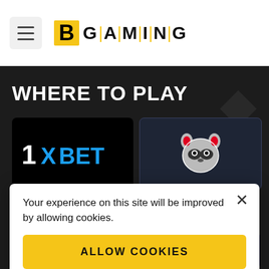BGaming
WHERE TO PLAY
[Figure (logo): 1xBET logo on black background]
[Figure (logo): Raccoon/gaming brand logo on dark blue background]
Your experience on this site will be improved by allowing cookies.
ALLOW COOKIES
[Figure (logo): Bitcasino logo partial - bottom left]
[Figure (logo): BitStarz logo partial - bottom right]